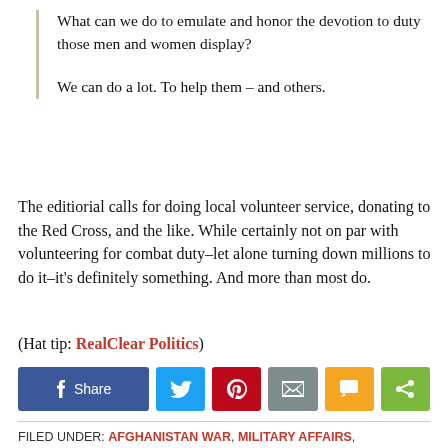What can we do to emulate and honor the devotion to duty those men and women display?
We can do a lot. To help them – and others.
The editiorial calls for doing local volunteer service, donating to the Red Cross, and the like. While certainly not on par with volunteering for combat duty–let alone turning down millions to do it–it's definitely something. And more than most do.
(Hat tip: RealClear Politics)
[Figure (other): Social share buttons: Facebook Share, Twitter, Pinterest, Email, SMS, ShareThis]
FILED UNDER: AFGHANISTAN WAR, MILITARY AFFAIRS, AFGHANISTAN, ARIZONA, HEROISM, IRAQ, JOHN MCCAIN, MARINE CORPS, MEDAL OF HONOR, REALCLEARPOLITICS, RED...